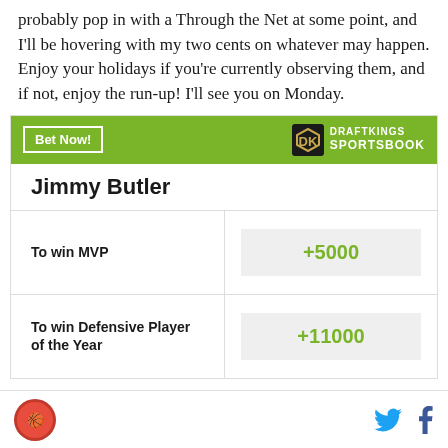probably pop in with a Through the Net at some point, and I'll be hovering with my two cents on whatever may happen. Enjoy your holidays if you're currently observing them, and if not, enjoy the run-up! I'll see you on Monday.
| Jimmy Butler |  |
| --- | --- |
| To win MVP | +5000 |
| To win Defensive Player of the Year | +11000 |